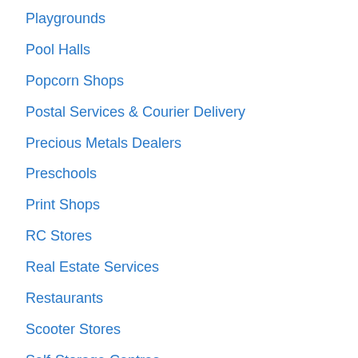Playgrounds
Pool Halls
Popcorn Shops
Postal Services & Courier Delivery
Precious Metals Dealers
Preschools
Print Shops
RC Stores
Real Estate Services
Restaurants
Scooter Stores
Self-Storage Centres
Shoe Repair Service
Shoe Stores
Shopping Centres